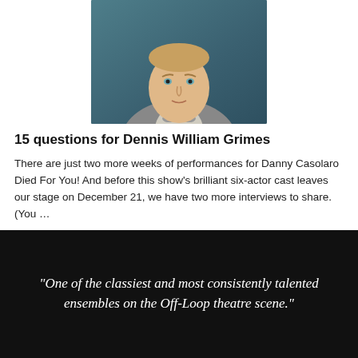[Figure (photo): Headshot of Dennis William Grimes, a man in a grey vest and bow tie against a teal/dark background]
15 questions for Dennis William Grimes
There are just two more weeks of performances for Danny Casolaro Died For You! And before this show's brilliant six-actor cast leaves our stage on December 21, we have two more interviews to share. (You …
READ MORE
“One of the classiest and most consistently talented ensembles on the Off-Loop theatre scene.”